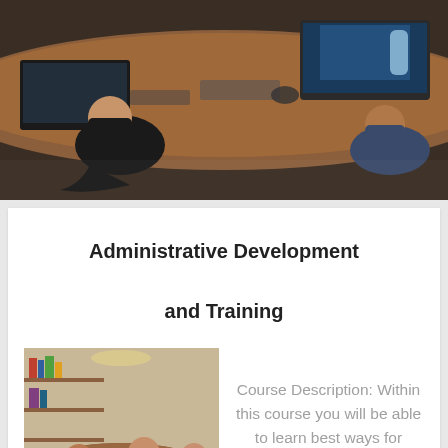[Figure (photo): People sitting around a conference table with laptops, viewed from above/side angle in a dark-toned meeting room setting]
Administrative Development and Training
[Figure (photo): Group of people seated around a conference table with laptops in a training or meeting room setting]
Course Description: Within this course you will be able to learn best ways for training and developing individuals to gain [...]
[Figure (photo): Partially visible bottom photo showing a bright room with furniture, plants or objects in background]